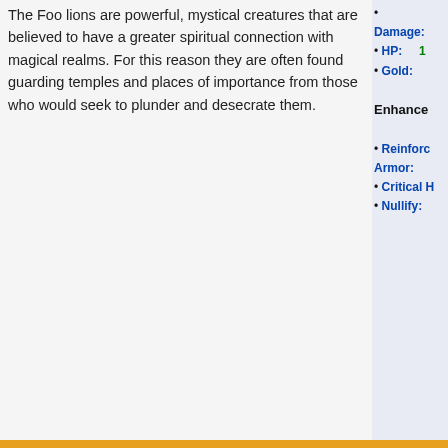The Foo lions are powerful, mystical creatures that are believed to have a greater spiritual connection with magical realms. For this reason they are often found guarding temples and places of importance from those who would seek to plunder and desecrate them.
• Damage:
• HP: 1
• Gold:
Enhancements
• Reinforced Armor:
• Critical H
• Nullify:
Hunting Information
|  | Attack | Defense | Armor | 1 Hit Dam. | 2 Hit Dam. | 3 H Dam. |
| --- | --- | --- | --- | --- | --- | --- |
| Stats to Beat: | 2,290 | 2,714 | 3,220 | 16,982 | 10,157 | 7,8 |
| Target Stats: | 2,532 | 3,000 | 3,560 | 18,596 | 11,053 | 8,5 |
Categories:  Bestiary | Feline Class